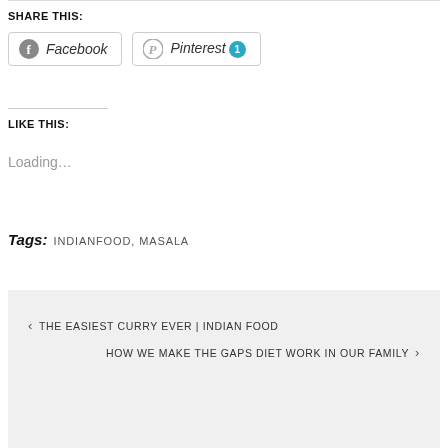SHARE THIS:
Facebook  Pinterest 1
LIKE THIS:
Loading...
Tags: INDIANFOOD, MASALA
< THE EASIEST CURRY EVER | INDIAN FOOD
HOW WE MAKE THE GAPS DIET WORK IN OUR FAMILY >